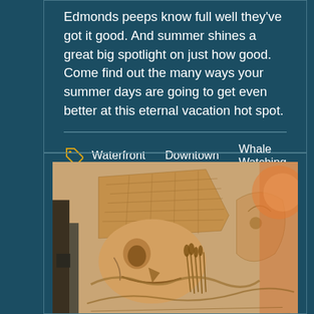Edmonds peeps know full well they've got it good. And summer shines a great big spotlight on just how good. Come find out the many ways your summer days are going to get even better at this eternal vacation hot spot.
Waterfront   Downtown   Whale Watching
[Figure (photo): A sand sculpture carving depicting a figure wearing a pointed/conical hat with detailed relief carving showing facial features and decorative elements. A colorful mural or artwork is partially visible in the background.]